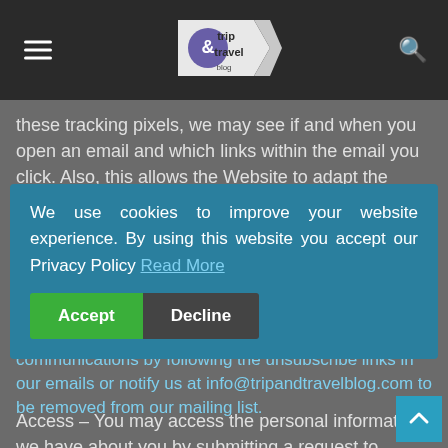trip & travel blog
these tracking pixels, we may see if and when you open an email and which links within the email you click. Also, this allows the Website to adapt the content of future newsletters to the interests of the user. This behavior will not be passed on to third parties.
RIGHTS RELATED TO YOUR PERSONAL INFORMATION
Opt-out – You may opt-out of future email communications by following the unsubscribe links in our emails or notify us at info@tripandtravelblog.com to be removed from our mailing list.
We use cookies to improve your website experience. By using this website you accept our Privacy Policy Read More
Access – You may access the personal information we have about you by submitting a request to info@tripandtravelblog.com.
Amend – You may contact us at